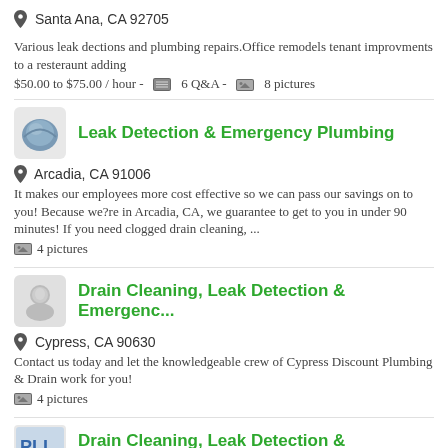📍 Santa Ana, CA 92705
Various leak dections and plumbing repairs.Office remodels tenant improvments to a resteraunt adding
$50.00 to $75.00 / hour - 6 Q&A - 8 pictures
Leak Detection & Emergency Plumbing
📍 Arcadia, CA 91006
It makes our employees more cost effective so we can pass our savings on to you! Because we?re in Arcadia, CA, we guarantee to get to you in under 90 minutes! If you need clogged drain cleaning, ...
4 pictures
Drain Cleaning, Leak Detection & Emergenc...
📍 Cypress, CA 90630
Contact us today and let the knowledgeable crew of Cypress Discount Plumbing & Drain work for you!
4 pictures
Drain Cleaning, Leak Detection & Emergenc...